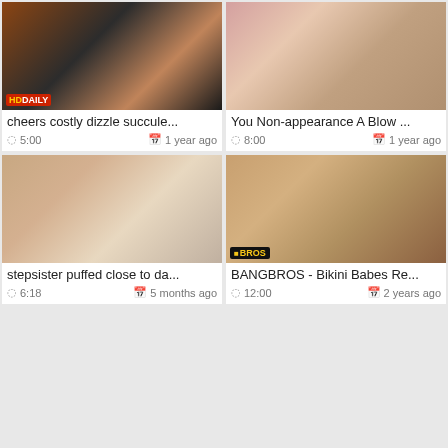[Figure (screenshot): Video thumbnail grid with 4 video cards showing adult content thumbnails with titles, durations, and dates]
cheers costly dizzle succule...
5:00   1 year ago
You Non-appearance A Blow ...
8:00   1 year ago
stepsister puffed close to da...
6:18   5 months ago
BANGBROS - Bikini Babes Re...
12:00   2 years ago